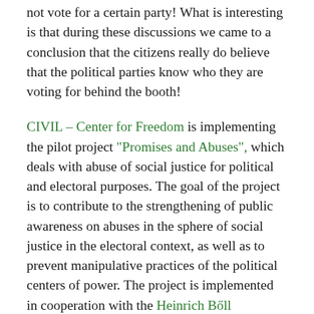not vote for a certain party! What is interesting is that during these discussions we came to a conclusion that the citizens really do believe that the political parties know who they are voting for behind the booth!
CIVIL – Center for Freedom is implementing the pilot project "Promises and Abuses", which deals with abuse of social justice for political and electoral purposes. The goal of the project is to contribute to the strengthening of public awareness on abuses in the sphere of social justice in the electoral context, as well as to prevent manipulative practices of the political centers of power. The project is implemented in cooperation with the Heinrich Böll Foundation –